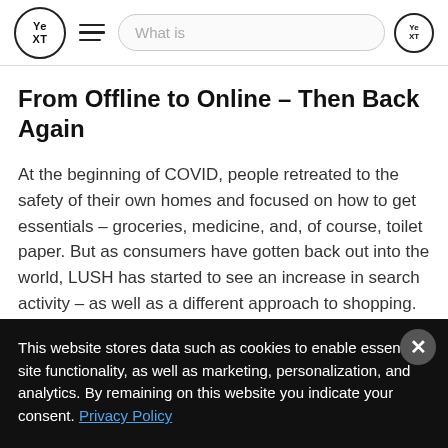Yext — What is [search bar]
From Offline to Online – Then Back Again
At the beginning of COVID, people retreated to the safety of their own homes and focused on how to get essentials – groceries, medicine, and, of course, toilet paper. But as consumers have gotten back out into the world, LUSH has started to see an increase in search activity – as well as a different approach to shopping.
This website stores data such as cookies to enable essential site functionality, as well as marketing, personalization, and analytics. By remaining on this website you indicate your consent. Privacy Policy